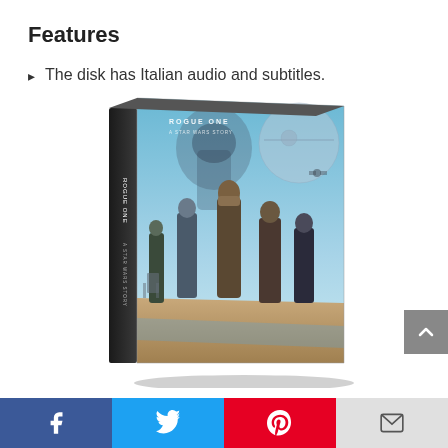Features
The disk has Italian audio and subtitles.
[Figure (photo): Rogue One: A Star Wars Story DVD/Blu-ray box set at an angle, showing the cover art with characters including Jyn Erso and other Rebel soldiers, with Darth Vader silhouette and Death Star in the background.]
Social share bar: Facebook, Twitter, Pinterest, Email